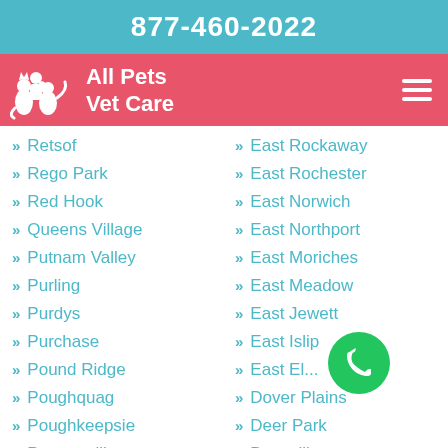877-460-2022
[Figure (logo): All Pets Vet Care logo with white silhouette of pets and person on red/pink background, with hamburger menu icon]
Retsof
Rego Park
Red Hook
Queens Village
Putnam Valley
Purling
Purdys
Purchase
Pound Ridge
Poughquag
Poughkeepsie
Portageville
Port Washington
East Rockaway
East Rochester
East Norwich
East Northport
East Moriches
East Meadow
East Jewett
East Islip
East El...
Dover Plains
Deer Park
Dansville
Dalton